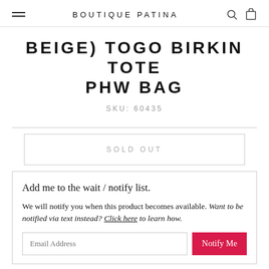BOUTIQUE PATINA
BEIGE) TOGO BIRKIN TOTE PHW BAG
SKU: 60435
SOLD OUT
Add me to the wait / notify list.
We will notify you when this product becomes available. Want to be notified via text instead? Click here to learn how.
Email Address | Notify Me